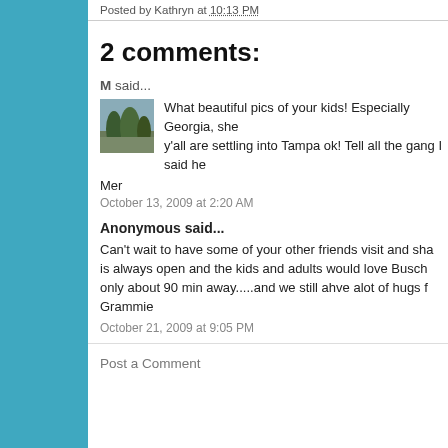Posted by Kathryn at 10:13 PM
2 comments:
M said...
[Figure (photo): Small avatar thumbnail showing a landscape with trees]
What beautiful pics of your kids! Especially Georgia, she y'all are settling into Tampa ok! Tell all the gang I said he
Mer
October 13, 2009 at 2:20 AM
Anonymous said...
Can't wait to have some of your other friends visit and sha is always open and the kids and adults would love Busch only about 90 min away.....and we still ahve alot of hugs f Grammie
October 21, 2009 at 9:05 PM
Post a Comment